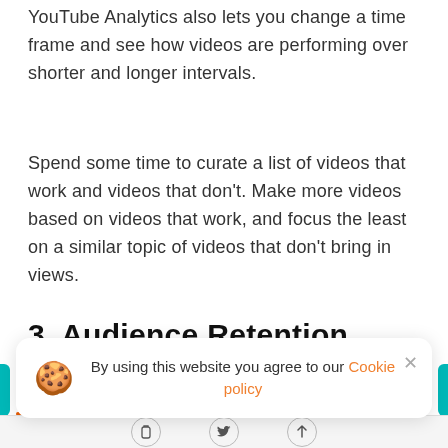YouTube Analytics also lets you change a time frame and see how videos are performing over shorter and longer intervals.
Spend some time to curate a list of videos that work and videos that don't. Make more videos based on videos that work, and focus the least on a similar topic of videos that don't bring in views.
3. Audience Retention
By using this website you agree to our Cookie policy